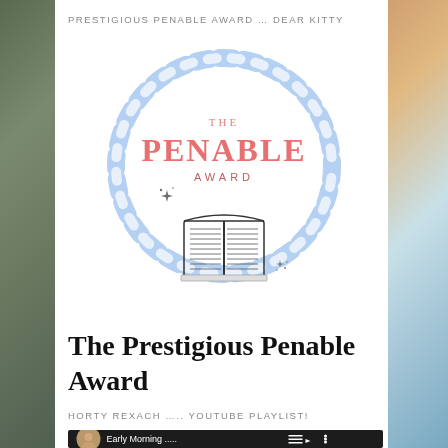PRESTIGIOUS PENABLE AWARD … DEAR KITTY
[Figure (logo): The Penable Award logo: a circular rope border in light blue and white, with 'THE PENABLE AWARD' text in salmon/pink color in the center, and an open book illustration below the text with sparkle/star decorations]
The Prestigious Penable Award
HORTY REXACH ….. YOUTUBE PLAYLIST!
[Figure (screenshot): YouTube video player bar showing a circular profile photo of a man, text 'Early Morning .....' in white, playlist icon, and menu dots icon, all on dark background]